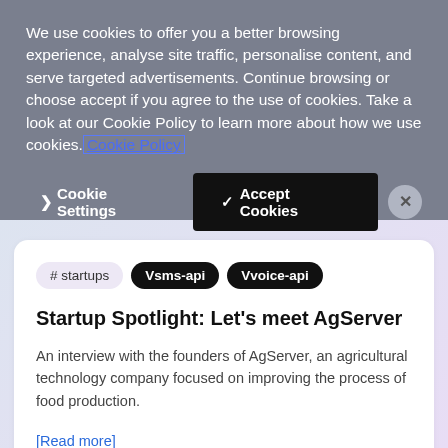We use cookies to offer you a better browsing experience, analyse site traffic, personalise content, and serve targeted advertisements. Continue browsing or choose accept if you agree to the use of cookies. Take a look at our Cookie Policy to learn more about how we use cookies. Cookie Policy
> Cookie Settings  ✓ Accept Cookies  ×
# startups  V sms-api  V voice-api
Startup Spotlight: Let's meet AgServer
An interview with the founders of AgServer, an agricultural technology company focused on improving the process of food production.
[Read more]